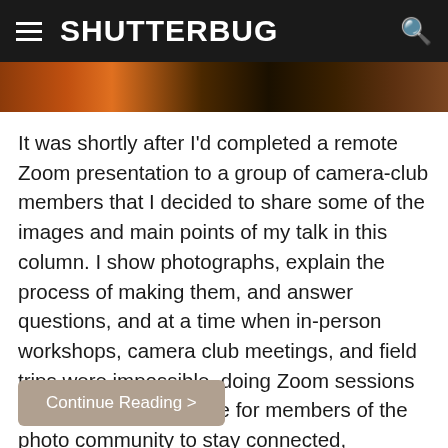SHUTTERBUG
[Figure (photo): Partial photo strip showing a colorful outdoor or nature photograph, partially cropped at the top]
It was shortly after I'd completed a remote Zoom presentation to a group of camera-club members that I decided to share some of the images and main points of my talk in this column. I show photographs, explain the process of making them, and answer questions, and at a time when in-person workshops, camera club meetings, and field trips were impossible, doing Zoom sessions was a welcome chance for members of the photo community to stay connected, motivated, and inspired.
Continue Reading >